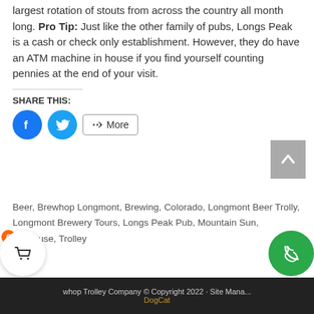largest rotation of stouts from across the country all month long. Pro Tip: Just like the other family of pubs, Longs Peak is a cash or check only establishment. However, they do have an ATM machine in house if you find yourself counting pennies at the end of your visit.
SHARE THIS:
[Figure (other): Social share buttons: Facebook (blue circle), Twitter (light blue circle), and a More button with share icon]
Beer, Brewhop Longmont, Brewing, Colorado, Longmont Beer Trolly, Longmont Brewery Tours, Longs Peak Pub, Mountain Sun, Taphouse, Trolley
whop Trolley Company © Copyright 2022 · Site Mana... DogCat